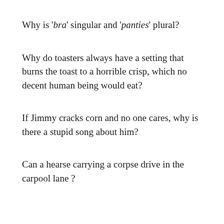Why is 'bra' singular and 'panties' plural?
Why do toasters always have a setting that burns the toast to a horrible crisp, which no decent human being would eat?
If Jimmy cracks corn and no one cares, why is there a stupid song about him?
Can a hearse carrying a corpse drive in the carpool lane ?